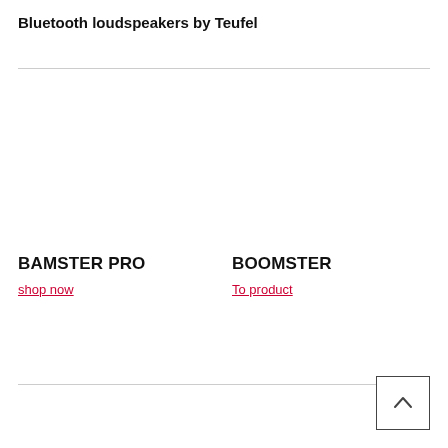Bluetooth loudspeakers by Teufel
BAMSTER PRO
shop now
BOOMSTER
To product